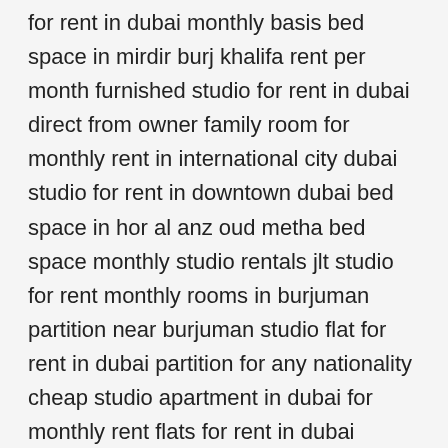for rent in dubai monthly basis bed space in mirdir burj khalifa rent per month furnished studio for rent in dubai direct from owner family room for monthly rent in international city dubai studio for rent in downtown dubai bed space in hor al anz oud metha bed space monthly studio rentals jlt studio for rent monthly rooms in burjuman partition near burjuman studio flat for rent in dubai partition for any nationality cheap studio apartment in dubai for monthly rent flats for rent in dubai karama furnished studio for rent in bur dubai monthly dubizzle sharing family room in karama room for rent in rashidiya furnished hotel apartments for rent in dubai monthly basis furnished studio in international city studio for rent in shabia family room for rent in dubai for 3 month apartments for rent in karama furnished 1 bhk for monthly rent in sharjah bur dubai rentals international city studio room rent furnished studio flat in sharjah muwaileh monthly basis burjuman room for rent service apartments in nungambakkam for monthly rental hotel apartments long term dubai furnished short term apartments studio for rent in baniyas